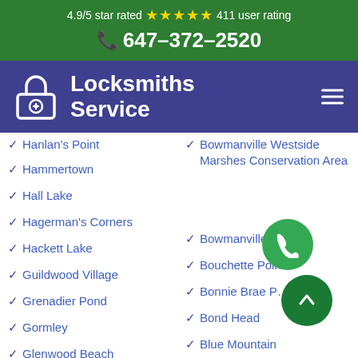4.9/5 star rated ★★★★★ 411 user rating
647-372-2520
[Figure (logo): Locksmiths Service logo with padlock icon on blue/purple nav bar]
Hanlan's Point
Hammertown
Hall Lake
Hagerman's Corners
Hackett Lake
Guildwood Village
Grenadier Pond
Gormley
Glenwood Beach
Glenville
Glen Agar
Bowmanville Westside Marshes Conservation Area
Bowmanville
Bouchette Point
Bonnie Brae P…
Bond Head
Blue Mountain
Blackwater Junction
Blackwater
Blackstock Creek